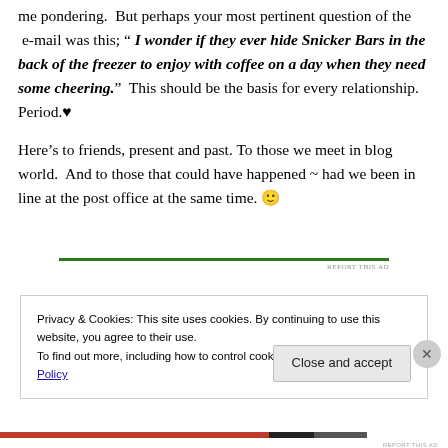me pondering.  But perhaps your most pertinent question of the  e-mail was this; " I wonder if they ever hide Snicker Bars in the back of the freezer to enjoy with coffee on a day when they need some cheering."  This should be the basis for every relationship.  Period.♥
Here's to friends, present and past. To those we meet in blog world.  And to those that could have happened ~ had we been in line at the post office at the same time. 🙂
Privacy & Cookies: This site uses cookies. By continuing to use this website, you agree to their use.
To find out more, including how to control cookies, see here: Cookie Policy